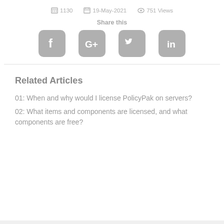1130   19-May-2021   751 Views
Share this
[Figure (infographic): Social media share icons: Facebook, Google+, Twitter, LinkedIn]
Related Articles
01: When and why would I license PolicyPak on servers?
02: What items and components are licensed, and what components are free?